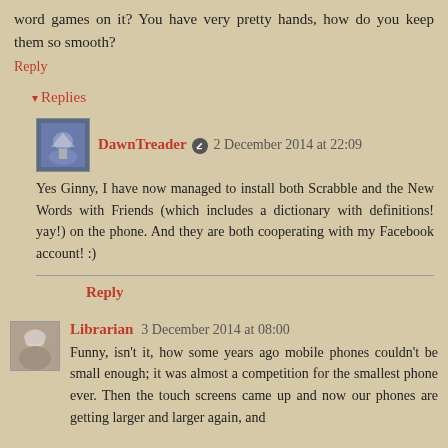word games on it? You have very pretty hands, how do you keep them so smooth?
Reply
Replies
[Figure (photo): User avatar for DawnTreader - blue/purple illustration with a ship]
DawnTreader  2 December 2014 at 22:09
Yes Ginny, I have now managed to install both Scrabble and the New Words with Friends (which includes a dictionary with definitions! yay!) on the phone. And they are both cooperating with my Facebook account! :)
Reply
[Figure (photo): User avatar for Librarian - photo of a person with short gray hair]
Librarian  3 December 2014 at 08:00
Funny, isn't it, how some years ago mobile phones couldn't be small enough; it was almost a competition for the smallest phone ever. Then the touch screens came up and now our phones are getting larger and larger again, and